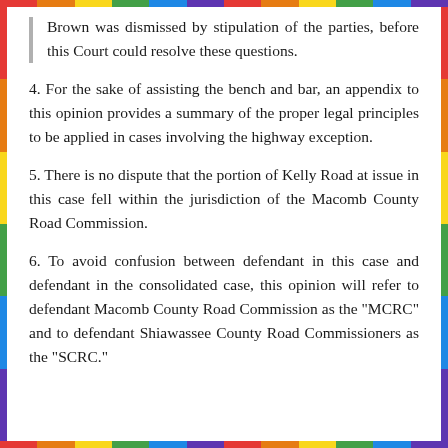Brown was dismissed by stipulation of the parties, before this Court could resolve these questions.
4. For the sake of assisting the bench and bar, an appendix to this opinion provides a summary of the proper legal principles to be applied in cases involving the highway exception.
5. There is no dispute that the portion of Kelly Road at issue in this case fell within the jurisdiction of the Macomb County Road Commission.
6. To avoid confusion between defendant in this case and defendant in the consolidated case, this opinion will refer to defendant Macomb County Road Commission as the "MCRC" and to defendant Shiawassee County Road Commissioners as the "SCRC."